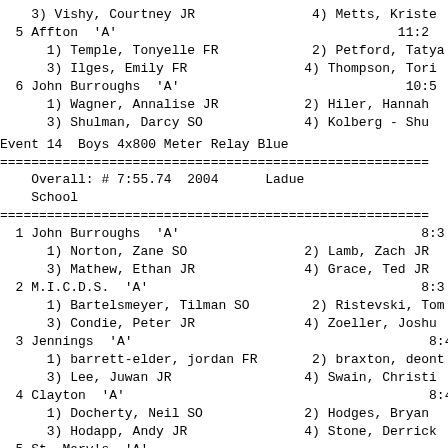3) Vishy, Courtney JR                    4) Metts, Kriste
5 Affton  'A'                                       11:2
1) Temple, Tonyelle FR                2) Petford, Tatya
3) Ilges, Emily FR                    4) Thompson, Tori
6 John Burroughs  'A'                               10:5
1) Wagner, Annalise JR                2) Hiler, Hannah
3) Shulman, Darcy SO                  4) Kolberg - Shu
Event 14  Boys 4x800 Meter Relay Blue
Overall: # 7:55.74  2004     Ladue
School
1 John Burroughs  'A'                                 8:3
1) Norton, Zane SO                    2) Lamb, Zach JR
3) Mathew, Ethan JR                   4) Grace, Ted JR
2 M.I.C.D.S.  'A'                                     8:3
1) Bartelsmeyer, Tilman SO            2) Ristevski, Tom
3) Condie, Peter JR                   4) Zoeller, Joshu
3 Jennings  'A'                                        8:4
1) barrett-elder, jordan FR           2) braxton, deont
3) Lee, Juwan JR                      4) Swain, Christi
4 Clayton  'A'                                         8:4
1) Docherty, Neil SO                  2) Hodges, Bryan
3) Hodapp, Andy JR                    4) Stone, Derrick
5 St. Mary's  'A'
1) Cashner, Conor SR                  2) Lyles, Jake JR
3) Albers, Greg JR                    4) Leisure, Chris
6 Principia  'A'
1) Heath, Conrad JR                   2) Holmsley, Mave